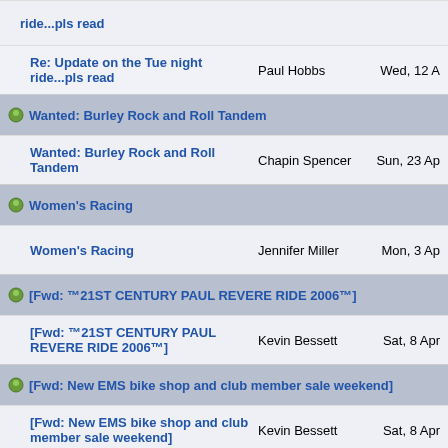ride...pls read
Re: Update on the Tue night ride...pls read | Paul Hobbs | Wed, 12 A
Wanted: Burley Rock and Roll Tandem
Wanted: Burley Rock and Roll Tandem | Chapin Spencer | Sun, 23 Ap
Women's Racing
Women's Racing | Jennifer Miller | Mon, 3 Ap
[Fwd: −21ST CENTURY PAUL REVERE RIDE 2006™]
[Fwd: −21ST CENTURY PAUL REVERE RIDE 2006™] | Kevin Bessett | Sat, 8 Apr
[Fwd: New EMS bike shop and club member sale weekend]
[Fwd: New EMS bike shop and club member sale weekend] | Kevin Bessett | Sat, 8 Apr
[RE: −21ST CENTURY PAUL REVERE RIDE 2006™]